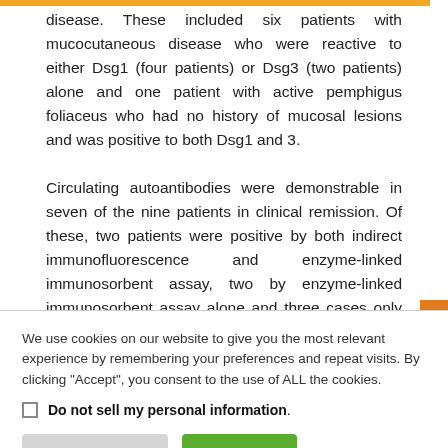disease. These included six patients with mucocutaneous disease who were reactive to either Dsg1 (four patients) or Dsg3 (two patients) alone and one patient with active pemphigus foliaceus who had no history of mucosal lesions and was positive to both Dsg1 and 3.

Circulating autoantibodies were demonstrable in seven of the nine patients in clinical remission. Of these, two patients were positive by both indirect immunofluorescence and enzyme-linked immunosorbent assay, two by enzyme-linked immunosorbent assay alone and three cases only by indirect immunofluorescence.
We use cookies on our website to give you the most relevant experience by remembering your preferences and repeat visits. By clicking "Accept", you consent to the use of ALL the cookies.
Do not sell my personal information.
Cookie Settings | Accept